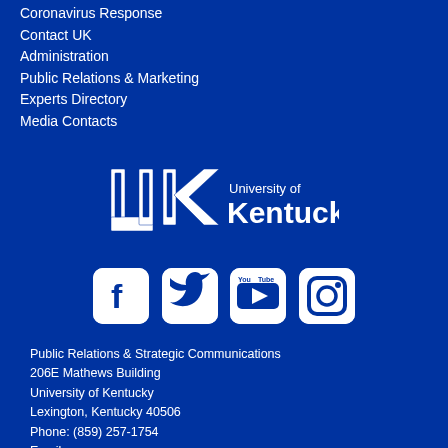Coronavirus Response
Contact UK
Administration
Public Relations & Marketing
Experts Directory
Media Contacts
[Figure (logo): University of Kentucky logo with UK wildcat block letters and text 'University of Kentucky']
[Figure (infographic): Social media icons: Facebook, Twitter, YouTube, Instagram — white rounded square buttons on blue background]
Public Relations & Strategic Communications
206E Mathews Building
University of Kentucky
Lexington, Kentucky 40506
Phone: (859) 257-1754
Email